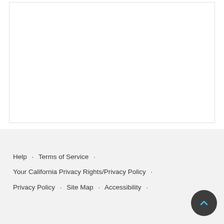[Figure (other): White rectangular content area with light border, mostly empty/blank]
Help · Terms of Service · Your California Privacy Rights/Privacy Policy · Privacy Policy · Site Map · Accessibility ·